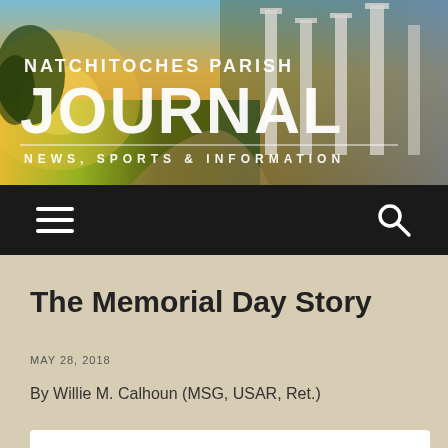[Figure (photo): Natchitoches Parish Journal newspaper banner header with outdoor landscape background showing greenery and classical columns monument at dusk/golden hour. White text overlay shows publication name and tagline.]
NATCHITOCHES PARISH JOURNAL
NEWS, SPORTS & INFORMATION
[Figure (screenshot): Dark navigation bar with hamburger menu icon on the left and search (magnifying glass) icon on the right]
The Memorial Day Story
MAY 28, 2018
By Willie M. Calhoun (MSG, USAR, Ret.)